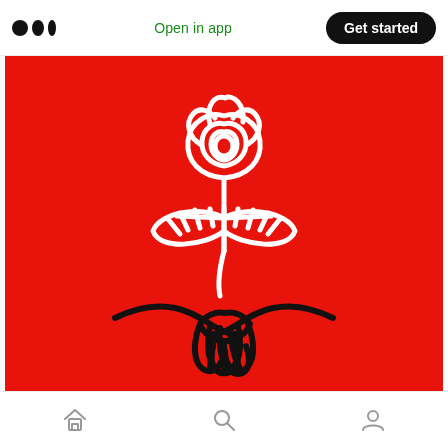Medium logo | Open in app | Get started
[Figure (illustration): Red background illustration featuring the Democratic Socialists of America (DSA) logo: a white line-art rose with two leaves above a black line-art handshake. The rose has spiral petals and two horizontal leaves with vein markings. Below, two hands clasp in a handshake rendered in black outlines.]
Home | Search | Profile icons